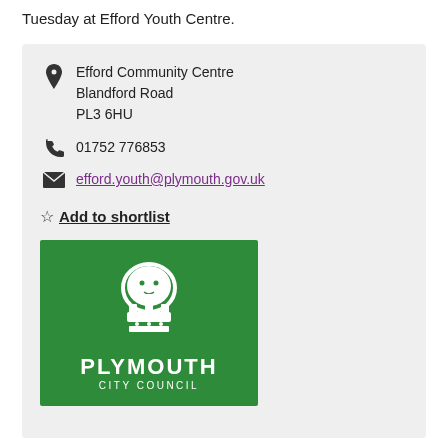Tuesday at Efford Youth Centre.
Efford Community Centre
Blandford Road
PL3 6HU
01752 776853
efford.youth@plymouth.gov.uk
Add to shortlist
[Figure (logo): Plymouth City Council green logo with lion and crown emblem, white text reading PLYMOUTH CITY COUNCIL]